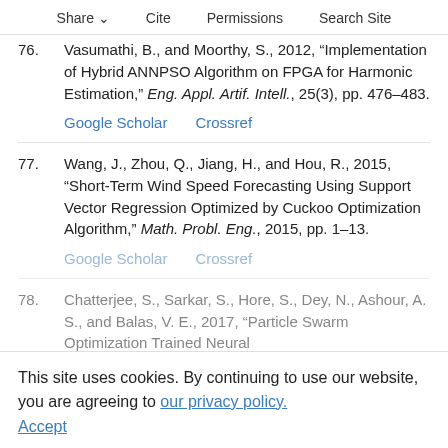Share  Cite  Permissions  Search Site
76. Vasumathi, B., and Moorthy, S., 2012, “Implementation of Hybrid ANNPSO Algorithm on FPGA for Harmonic Estimation,” Eng. Appl. Artif. Intell., 25(3), pp. 476–483.
77. Wang, J., Zhou, Q., Jiang, H., and Hou, R., 2015, “Short-Term Wind Speed Forecasting Using Support Vector Regression Optimized by Cuckoo Optimization Algorithm,” Math. Probl. Eng., 2015, pp. 1–13.
78. Chatterjee, S., Sarkar, S., Hore, S., Dey, N., Ashour, A. S., and Balas, V. E., 2017, “Particle Swarm Optimization Trained Neural ...
This site uses cookies. By continuing to use our website, you are agreeing to our privacy policy. Accept